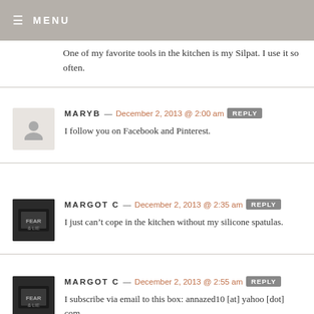≡ MENU
One of my favorite tools in the kitchen is my Silpat. I use it so often.
MARYB — December 2, 2013 @ 2:00 am REPLY
I follow you on Facebook and Pinterest.
MARGOT C — December 2, 2013 @ 2:35 am REPLY
I just can't cope in the kitchen without my silicone spatulas.
MARGOT C — December 2, 2013 @ 2:55 am REPLY
I subscribe via email to this box: annazed10 [at] yahoo [dot] com